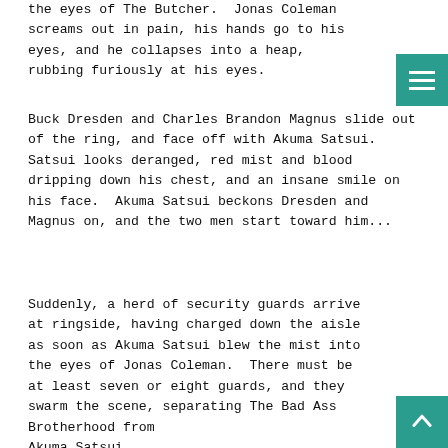the eyes of The Butcher.  Jonas Coleman screams out in pain, his hands go to his eyes, and he collapses into a heap, rubbing furiously at his eyes.
Buck Dresden and Charles Brandon Magnus slide out of the ring, and face off with Akuma Satsui.  Satsui looks deranged, red mist and blood dripping down his chest, and an insane smile on his face.  Akuma Satsui beckons Dresden and Magnus on, and the two men start toward him...
Suddenly, a herd of security guards arrive at ringside, having charged down the aisle as soon as Akuma Satsui blew the mist into the eyes of Jonas Coleman.  There must be at least seven or eight guards, and they swarm the scene, separating The Bad Ass Brotherhood from Akuma Satsui.